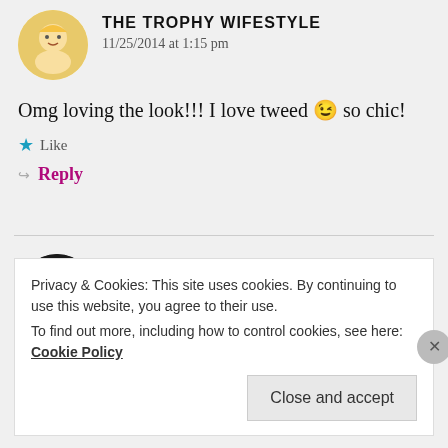THE TROPHY WIFESTYLE
11/25/2014 at 1:15 pm
Omg loving the look!!! I love tweed 😉 so chic!
Like
Reply
4LINKEDLEARNING
11/25/2014 at 11:24 am
Privacy & Cookies: This site uses cookies. By continuing to use this website, you agree to their use.
To find out more, including how to control cookies, see here: Cookie Policy
Close and accept